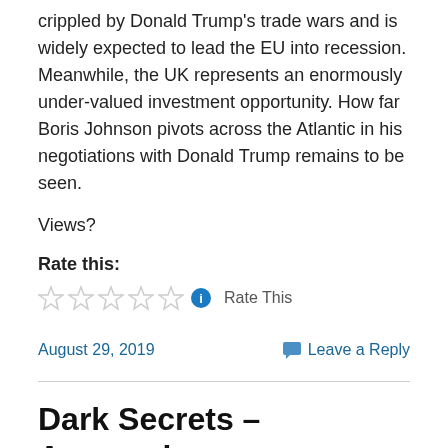crippled by Donald Trump’s trade wars and is widely expected to lead the EU into recession. Meanwhile, the UK represents an enormously under-valued investment opportunity. How far Boris Johnson pivots across the Atlantic in his negotiations with Donald Trump remains to be seen.
Views?
Rate this:
Rate This
August 29, 2019
Leave a Reply
Dark Secrets – Amazonia –